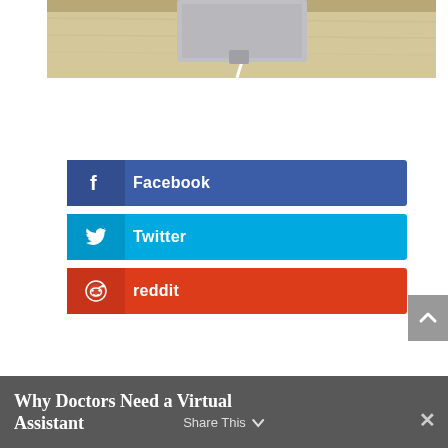[Figure (photo): Partial view of a laptop on a wooden desk with a white cable/charger plugged in, cropped from above]
[Figure (infographic): Social share buttons: Facebook (dark blue), Twitter (light blue), Reddit (orange-red)]
Why Doctors Need a Virtual Assistant